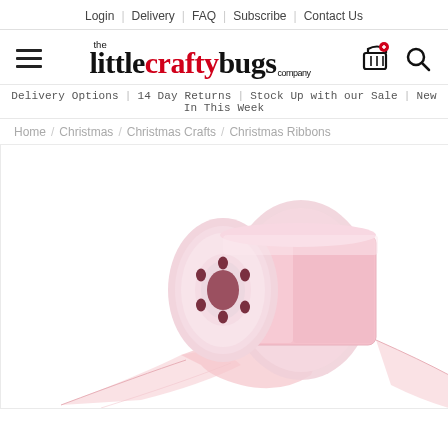Login | Delivery | FAQ | Subscribe | Contact Us
[Figure (logo): The Little Crafty Bugs Company logo with hamburger menu, shopping basket and search icon]
Delivery Options | 14 Day Returns | Stock Up with our Sale | New In This Week
Home / Christmas / Christmas Crafts / Christmas Ribbons
[Figure (photo): A spool of sheer pink organza ribbon partially unrolled, photographed on white background]